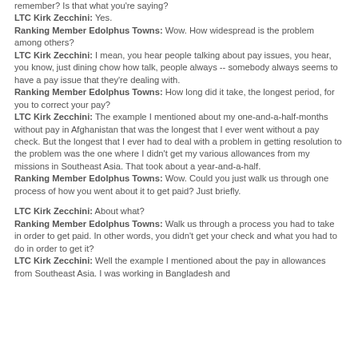remember? Is that what you're saying?
LTC Kirk Zecchini: Yes.
Ranking Member Edolphus Towns: Wow. How widespread is the problem among others?
LTC Kirk Zecchini: I mean, you hear people talking about pay issues, you hear, you know, just dining chow how talk, people always -- somebody always seems to have a pay issue that they're dealing with.
Ranking Member Edolphus Towns: How long did it take, the longest period, for you to correct your pay?
LTC Kirk Zecchini: The example I mentioned about my one-and-a-half-months without pay in Afghanistan that was the longest that I ever went without a pay check. But the longest that I ever had to deal with a problem in getting resolution to the problem was the one where I didn't get my various allowances from my missions in Southeast Asia. That took about a year-and-a-half.
Ranking Member Edolphus Towns: Wow. Could you just walk us through one process of how you went about it to get paid? Just briefly.
LTC Kirk Zecchini: About what?
Ranking Member Edolphus Towns: Walk us through a process you had to take in order to get paid. In other words, you didn't get your check and what you had to do in order to get it?
LTC Kirk Zecchini: Well the example I mentioned about the pay in allowances from Southeast Asia. I was working in Bangladesh and